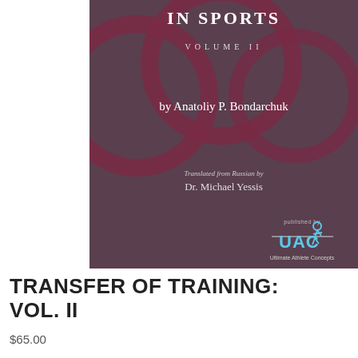[Figure (illustration): Book cover for 'Transfer of Training in Sports Volume II' by Anatoliy P. Bondarchuk, translated from Russian by Dr. Michael Yessis, published by Ultimate Athlete Concepts (UAC). Dark maroon/mauve background with overlapping Olympic-style ring outlines in darker maroon. White and light text for title, author, translator. UAC logo with runner silhouette in blue at bottom right.]
TRANSFER OF TRAINING: VOL. II
$65.00